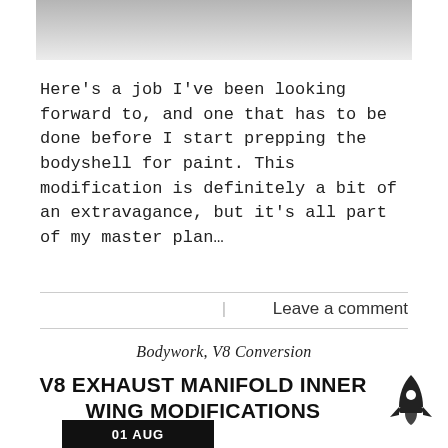[Figure (photo): Partial photo at top of page showing grey/white surface, cropped]
Here's a job I've been looking forward to, and one that has to be done before I start prepping the bodyshell for paint. This modification is definitely a bit of an extravagance, but it's all part of my master plan…
Leave a comment
Bodywork, V8 Conversion
V8 EXHAUST MANIFOLD INNER WING MODIFICATIONS
[Figure (illustration): Rocket icon in dark grey/black]
01 AUG